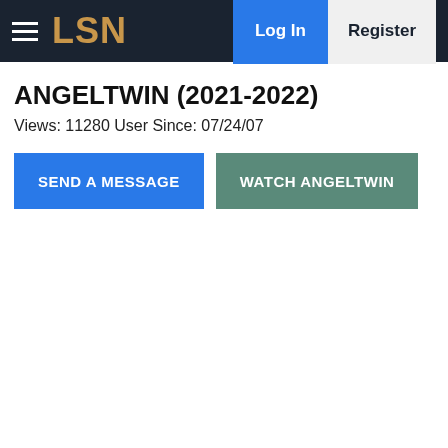LSN — Log In | Register
ANGELTWIN (2021-2022)
Views: 11280 User Since: 07/24/07
SEND A MESSAGE
WATCH ANGELTWIN